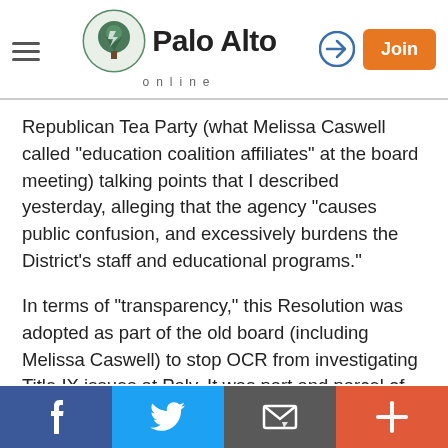Palo Alto online
Republican Tea Party (what Melissa Caswell called "education coalition affiliates" at the board meeting) talking points that I described yesterday, alleging that the agency "causes public confusion, and excessively burdens the District's staff and educational programs."
In terms of "transparency," this Resolution was adopted as part of the old board (including Melissa Caswell) to stop OCR from investigating Title IX issues at Paly. It was part and parcel of trying to stop that investigation so that OCR, very likely so that OCR would not discover the Phil Winston sexual harassment issues. These allegations against OCR of illegality are part of the outstanding
Facebook | Twitter | Email | More